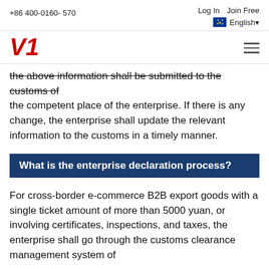+86 400-0160- 570   Log In   Join Free   English
V1
the above information shall be submitted to the customs of the competent place of the enterprise. If there is any change, the enterprise shall update the relevant information to the customs in a timely manner.
What is the enterprise declaration process?
For cross-border e-commerce B2B export goods with a single ticket amount of more than 5000 yuan, or involving certificates, inspections, and taxes, the enterprise shall go through the customs clearance management system of